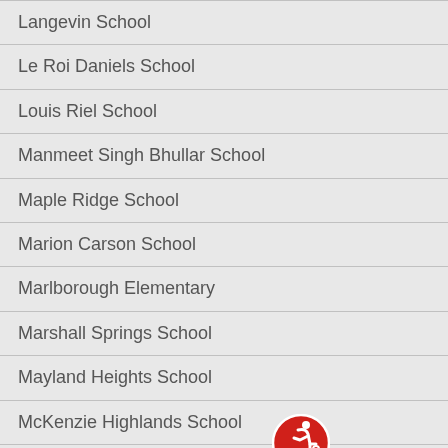Langevin School
Le Roi Daniels School
Louis Riel School
Manmeet Singh Bhullar School
Maple Ridge School
Marion Carson School
Marlborough Elementary
Marshall Springs School
Mayland Heights School
McKenzie Highlands School
McKenzie Lake Elementary
[Figure (illustration): Red circular accessibility icon showing a wheelchair user in motion]